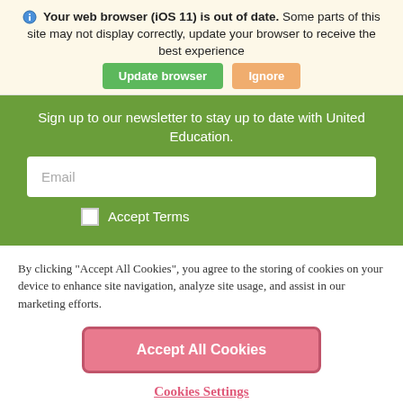Your web browser (iOS 11) is out of date. Some parts of this site may not display correctly, update your browser to receive the best experience
Update browser | Ignore
Sign up to our newsletter to stay up to date with United Education.
Email
Accept Terms
By clicking "Accept All Cookies", you agree to the storing of cookies on your device to enhance site navigation, analyze site usage, and assist in our marketing efforts.
Accept All Cookies
Cookies Settings